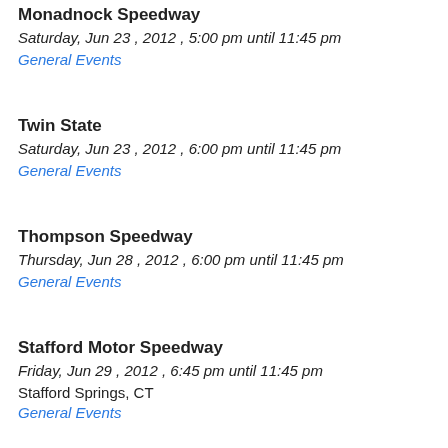Monadnock Speedway
Saturday, Jun 23 , 2012 , 5:00 pm until 11:45 pm
General Events
Twin State
Saturday, Jun 23 , 2012 , 6:00 pm until 11:45 pm
General Events
Thompson Speedway
Thursday, Jun 28 , 2012 , 6:00 pm until 11:45 pm
General Events
Stafford Motor Speedway
Friday, Jun 29 , 2012 , 6:45 pm until 11:45 pm
Stafford Springs, CT
General Events